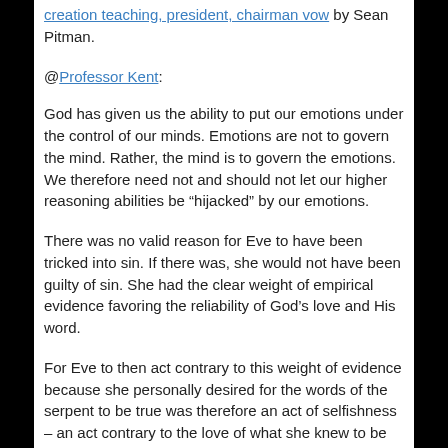creation teaching, president, chairman vow by Sean Pitman.
@Professor Kent:
God has given us the ability to put our emotions under the control of our minds. Emotions are not to govern the mind. Rather, the mind is to govern the emotions. We therefore need not and should not let our higher reasoning abilities be “hijacked” by our emotions.
There was no valid reason for Eve to have been tricked into sin. If there was, she would not have been guilty of sin. She had the clear weight of empirical evidence favoring the reliability of God’s love and His word.
For Eve to then act contrary to this weight of evidence because she personally desired for the words of the serpent to be true was therefore an act of selfishness – an act contrary to the love of what she knew to be true.